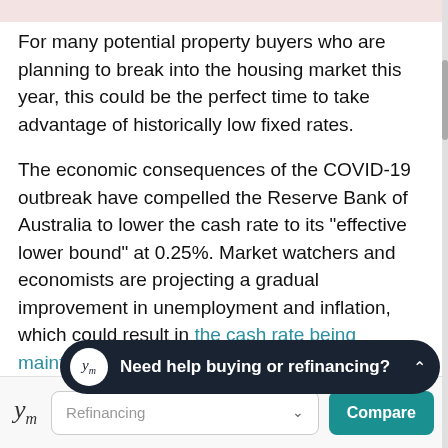For many potential property buyers who are planning to break into the housing market this year, this could be the perfect time to take advantage of historically low fixed rates.
The economic consequences of the COVID-19 outbreak have compelled the Reserve Bank of Australia to lower the cash rate to its "effective lower bound" at 0.25%. Market watchers and economists are projecting a gradual improvement in unemployment and inflation, which could result in the cash rate being maintained until 2023.
Should potential buyers take advantage of this low–
[Figure (infographic): Dark navy toast/popup bar with a white circular logo icon showing 'ym' and bold white text 'Need help buying or refinancing?' with a caret/chevron icon on the right]
ym   Refinancing   ∨   Compare